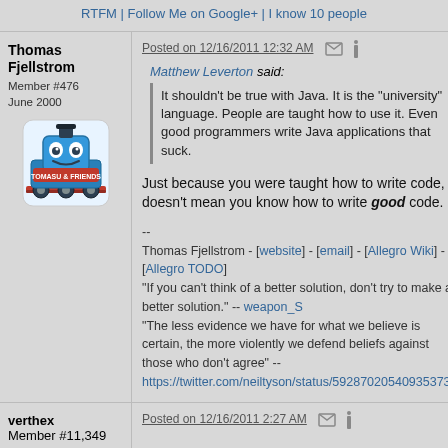RTFM | Follow Me on Google+ | I know 10 people
Thomas Fjellstrom
Member #476
June 2000
[Figure (illustration): Thomas the Tank Engine avatar (Tomasu & Friends)]
Posted on 12/16/2011 12:32 AM
Matthew Leverton said: It shouldn't be true with Java. It is the "university" language. People are taught how to use it. Even good programmers write Java applications that suck.
Just because you were taught how to write code, doesn't mean you know how to write good code.
-- Thomas Fjellstrom - [website] - [email] - [Allegro Wiki] - [Allegro TODO]
"If you can't think of a better solution, don't try to make a better solution." -- weapon_S
"The less evidence we have for what we believe is certain, the more violently we defend beliefs against those who don't agree" --
https://twitter.com/neiltyson/status/592870205409353730
verthex
Member #11,349
Posted on 12/16/2011 2:27 AM